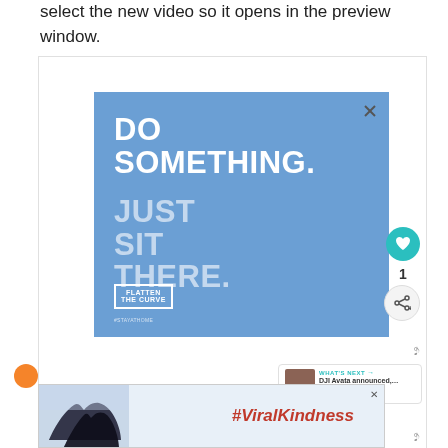select the new video so it opens in the preview window.
[Figure (screenshot): Advertisement banner with blue background. Text reads 'DO SOMETHING. JUST SIT THERE.' with a Flatten the Curve logo. Has a close (X) button, a heart/like button showing count of 1, a share button, and a 'WHAT'S NEXT' card showing 'DJI Avata announced,...']
[Figure (screenshot): Bottom advertisement banner showing hands forming a heart shape with text '#ViralKindness']